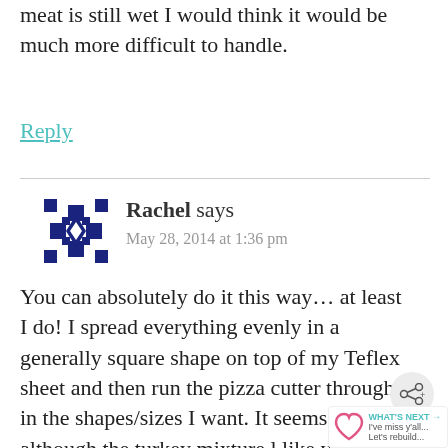meat is still wet I would think it would be much more difficult to handle.
Reply
Rachel says
May 28, 2014 at 1:36 pm
You can absolutely do it this way... at least I do! I spread everything evenly in a generally square shape on top of my Teflex sheet and then run the pizza cutter through in the shapes/sizes I want. It seems t although the turkey mixture l like you've hardly affected it, the
[Figure (illustration): Blue geometric avatar icon with snowflake/star pattern]